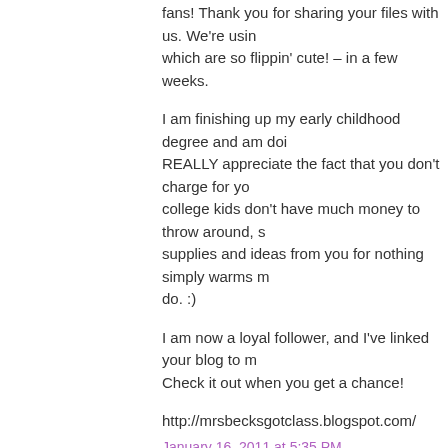fans! Thank you for sharing your files with us. We're using which are so flippin' cute! - in a few weeks.
I am finishing up my early childhood degree and am doing REALLY appreciate the fact that you don't charge for your college kids don't have much money to throw around, supplies and ideas from you for nothing simply warms my do. :)
I am now a loyal follower, and I've linked your blog to mine. Check it out when you get a chance!
http://mrsbecksgotclass.blogspot.com/
January 16, 2011 at 5:35 PM
[Figure (illustration): Blogger avatar icon - orange rounded square with white letter B]
calpers said...
THANK YOU for posting your wonderful supplies! You need and deserve compensation for all the time and talent